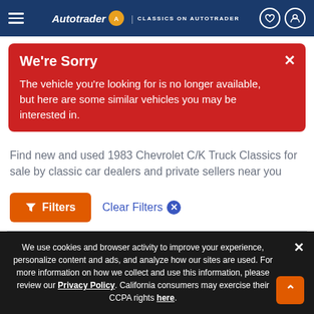Autotrader | CLASSICS ON AUTOTRADER
We're Sorry
The vehicle you're looking for is no longer available, but here are some similar vehicles you may be interested in.
Find new and used 1983 Chevrolet C/K Truck Classics for sale by classic car dealers and private sellers near you
Filters
Clear Filters
Sort Results By
Show 25
We use cookies and browser activity to improve your experience, personalize content and ads, and analyze how our sites are used. For more information on how we collect and use this information, please review our Privacy Policy. California consumers may exercise their CCPA rights here.